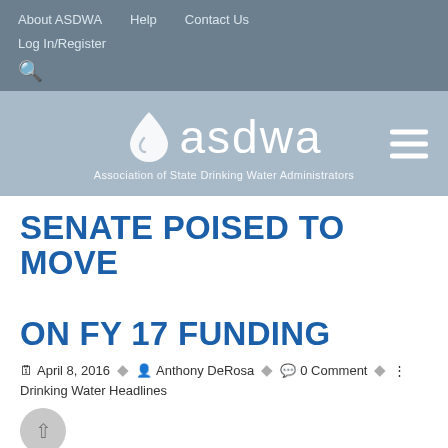About ASDWA   Help   Contact Us   Log In/Register
[Figure (logo): ASDWA logo with water drop icon and text 'asdwa' — Association of State Drinking Water Administrators]
SENATE POISED TO MOVE ON FY 17 FUNDING
April 8, 2016  Anthony DeRosa  0 Comment  Drinking Water Headlines
The Senate has decided that despite the lack of a